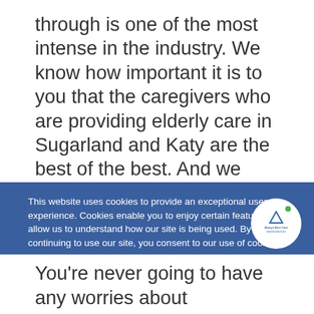through is one of the most intense in the industry. We know how important it is to you that the caregivers who are providing elderly care in Sugarland and Katy are the best of the best. And we form our vetting process around that fact. Each one of our potential caregivers must go through an interview process, where
This website uses cookies to provide an exceptional user experience. Cookies enable you to enjoy certain features and allow us to understand how our site is being used. By continuing to use our site, you consent to our use of cookies.
Read more "opens in a new window"
Decline | Accept Cookies
[Figure (logo): Always Best Care Senior Services logo in a white circle]
You're never going to have any worries about